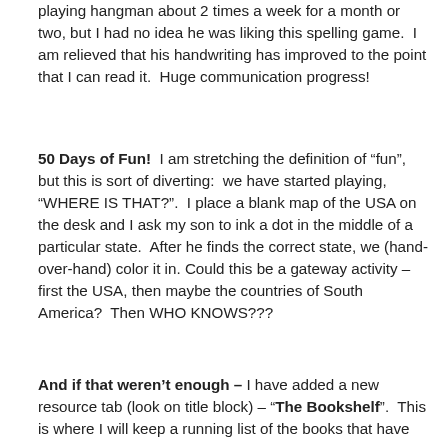playing hangman about 2 times a week for a month or two, but I had no idea he was liking this spelling game.  I am relieved that his handwriting has improved to the point that I can read it.  Huge communication progress!
50 Days of Fun!  I am stretching the definition of “fun”, but this is sort of diverting:  we have started playing, “WHERE IS THAT?”.  I place a blank map of the USA on the desk and I ask my son to ink a dot in the middle of a particular state.  After he finds the correct state, we (hand-over-hand) color it in. Could this be a gateway activity – first the USA, then maybe the countries of South America?  Then WHO KNOWS???
And if that weren’t enough – I have added a new resource tab (look on title block) – “The Bookshelf”.  This is where I will keep a running list of the books that have